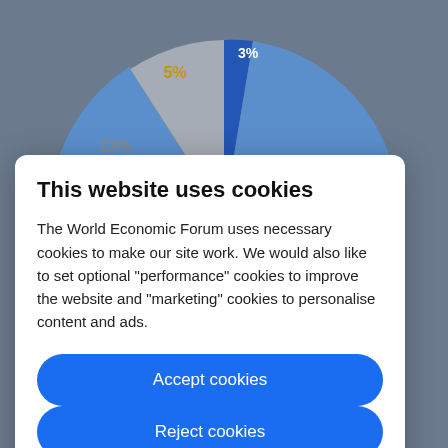[Figure (pie-chart): Pie chart (partially visible)]
This website uses cookies
The World Economic Forum uses necessary cookies to make our site work. We would also like to set optional “performance” cookies to improve the website and “marketing” cookies to personalise content and ads.
Accept cookies
Reject cookies
Cookie settings